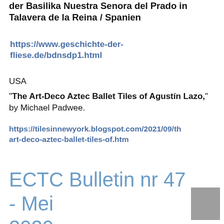der Basilika Nuestra Senora del Prado in Talavera de la Reina / Spanien
https://www.geschichte-der-fliese.de/bdnsdp1.html
USA
"The Art-Deco Aztec Ballet Tiles of Agustín Lazo," by Michael Padwee.
https://tilesinnewyork.blogspot.com/2021/09/the-art-deco-aztec-ballet-tiles-of.htm
ECTC Bulletin nr 47 - Mei 2020